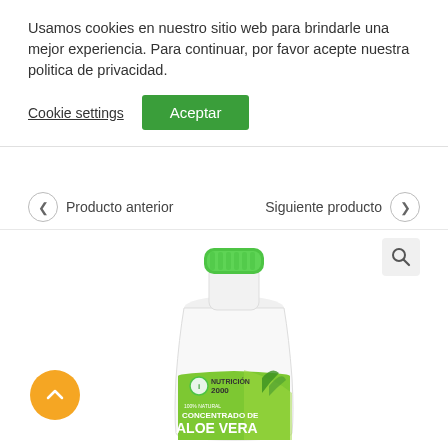Usamos cookies en nuestro sitio web para brindarle una mejor experiencia. Para continuar, por favor acepte nuestra politica de privacidad.
Cookie settings
Aceptar
Producto anterior
Siguiente producto
[Figure (photo): A white plastic bottle with a green cap featuring the label 'Nutricion 2000 - Concentrado de Aloe Vera 100% Natural' with green aloe vera plant imagery on the label.]